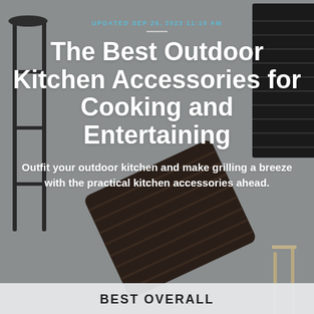[Figure (photo): Background photo showing outdoor kitchen accessories including a dark wooden cutting board, a tall bar stool with metal frame on the left, and a dark louvered panel on the upper right.]
UPDATED SEP 26, 2023 11:10 AM
The Best Outdoor Kitchen Accessories for Cooking and Entertaining
Outfit your outdoor kitchen and make grilling a breeze with the practical kitchen accessories ahead.
BEST OVERALL